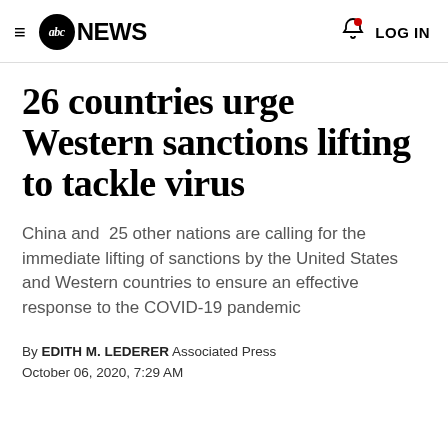≡ abc NEWS  LOG IN
26 countries urge Western sanctions lifting to tackle virus
China and 25 other nations are calling for the immediate lifting of sanctions by the United States and Western countries to ensure an effective response to the COVID-19 pandemic
By EDITH M. LEDERER Associated Press
October 06, 2020, 7:29 AM